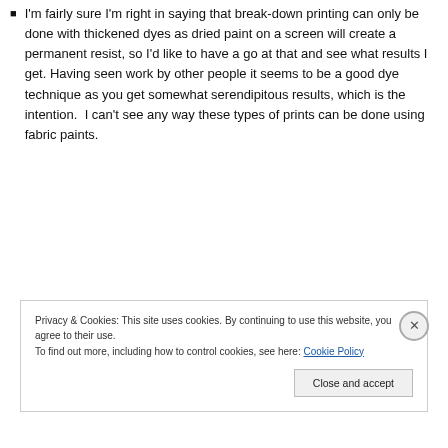I'm fairly sure I'm right in saying that break-down printing can only be done with thickened dyes as dried paint on a screen will create a permanent resist, so I'd like to have a go at that and see what results I get. Having seen work by other people it seems to be a good dye technique as you get somewhat serendipitous results, which is the intention.  I can't see any way these types of prints can be done using fabric paints.
Privacy & Cookies: This site uses cookies. By continuing to use this website, you agree to their use.
To find out more, including how to control cookies, see here: Cookie Policy